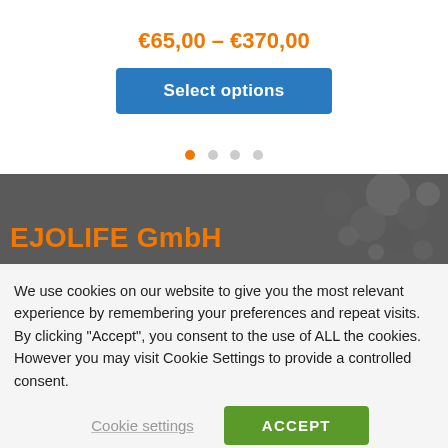€65,00 – €370,00
Select options
[Figure (illustration): Carousel navigation dots, four dots with the first one highlighted in orange]
[Figure (photo): Dark grey banner with molecule/cell imagery on the right side and EJOLIFE GmbH text in orange on the left]
EJOLIFE GmbH
We use cookies on our website to give you the most relevant experience by remembering your preferences and repeat visits. By clicking "Accept", you consent to the use of ALL the cookies. However you may visit Cookie Settings to provide a controlled consent.
Cookie settings
ACCEPT